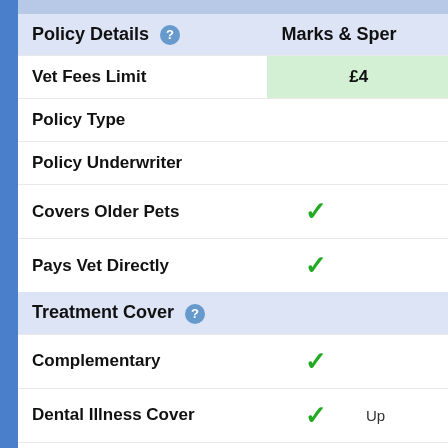Policy Details
| Policy Details | Marks & Spencer |
| --- | --- |
| Vet Fees Limit | £4… |
| Policy Type |  |
| Policy Underwriter |  |
| Covers Older Pets | ✓ |
| Pays Vet Directly | ✓ |
| Treatment Cover |  |
| Complementary | ✓ |
| Dental Illness Cover | ✓ | Up… |
| Farewell Cover | ✓ |
| Food | ✗ |
| Death or Loss |  |
| Death from Illness/Injury | ✓ |